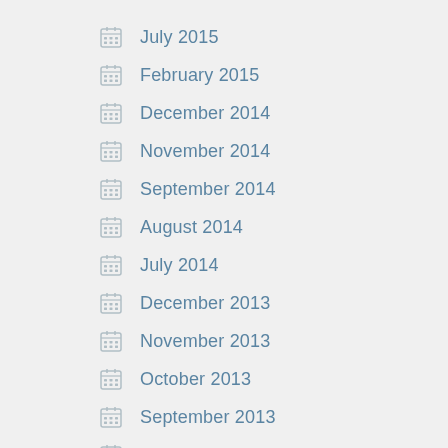July 2015
February 2015
December 2014
November 2014
September 2014
August 2014
July 2014
December 2013
November 2013
October 2013
September 2013
August 2013
July 2013
June 2013